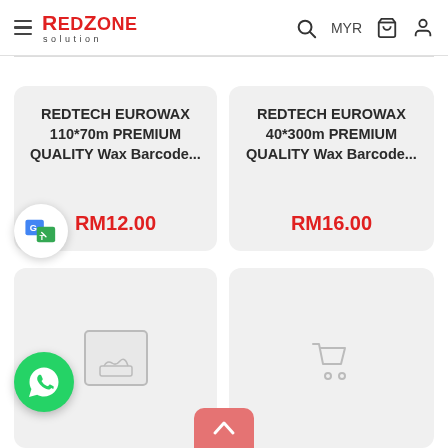RedZone Solution — MYR
REDTECH EUROWAX 110*70m PREMIUM QUALITY Wax Barcode...
RM12.00
REDTECH EUROWAX 40*300m PREMIUM QUALITY Wax Barcode...
RM16.00
[Figure (screenshot): Two partially visible product cards at the bottom row]
[Figure (logo): WhatsApp floating button (green circle with phone icon)]
[Figure (logo): Google Translate floating button (white circle with G translate icon)]
[Figure (illustration): Scroll-up pink/salmon button with up chevron arrow]